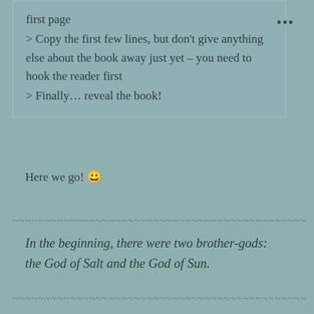first page
> Copy the first few lines, but don't give anything else about the book away just yet – you need to hook the reader first
> Finally… reveal the book!
Here we go! 😀
~~~~~~~~~~~~~~~~~~~~~~~~~~~~~~~~~~~~~~~~~~~~~~~~
In the beginning, there were two brother-gods: the God of Salt and the God of Sun.
~~~~~~~~~~~~~~~~~~~~~~~~~~~~~~~~~~~~~~~~~~~~~~~~